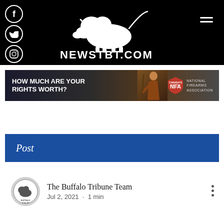[Figure (logo): NewsTBT.com website header with black background, buffalo/bison logo, NEWSTBT.COM text, social media icons (Facebook, Twitter, Instagram, LinkedIn) on the left, and hamburger menu on the right]
[Figure (photo): NFA (National Firearms Association) advertisement banner: 'HOW MUCH ARE YOUR RIGHTS WORTH?' with a man holding a bow and NFA logo]
Post
The Buffalo Tribune Team
Jul 2, 2021  ·  1 min